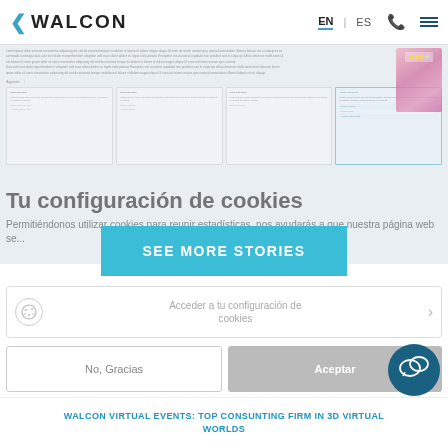WALCON | EN | ES
[Figure (screenshot): Blurred background screenshot of a Walcon virtual events web page showing agenda cards and editorial content with a pink/purple event flyer thumbnail]
Tu configuración de cookies
Permitiéndonos utilizar cookies para reunir estadísticas, nos ayudarás a que nuestra página web se...
SEE MORE STORIES
Acceder a tu configuración de cookies
No, Gracias
Aceptar
WALCON VIRTUAL EVENTS: TOP CONSUNTING FIRM IN 3D VIRTUAL WORLDS